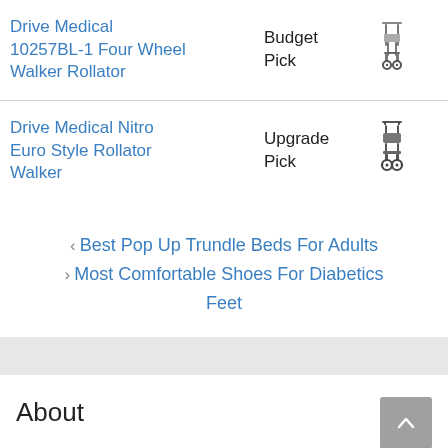Drive Medical 10257BL-1 Four Wheel Walker Rollator — Budget Pick
Drive Medical Nitro Euro Style Rollator Walker — Upgrade Pick
< Best Pop Up Trundle Beds For Adults
> Most Comfortable Shoes For Diabetics Feet
About